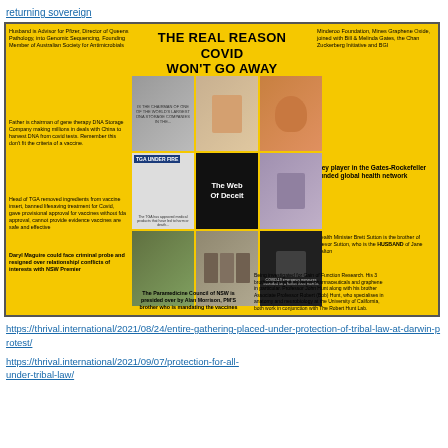returning sovereign
[Figure (infographic): Yellow background infographic titled 'THE REAL REASON COVID WON'T GO AWAY' with a grid of photos in the center and conspiracy-theory text annotations connecting to photos via lines. Left side mentions: Husband is Advisor for Pfizer, Director of Queens Pathology, Father is chairman of gene therapy DNA Storage Company, Head of TGA removed ingredients from vaccine insert, Daryl Maguire could face criminal probe. Right side mentions: Minderoo Foundation, Mines Graphene Oxide, Key player in the Gates-Rockefeller funded global health network, Health Minister Brett Sutton is the brother of Trevor Sutton. Bottom mentions: The Paramedicine Council of NSW, Being investigated for Gain of Function Research.]
https://thrival.international/2021/08/24/entire-gathering-placed-under-protection-of-tribal-law-at-darwin-protest/
https://thrival.international/2021/09/07/protection-for-all-under-tribal-law/